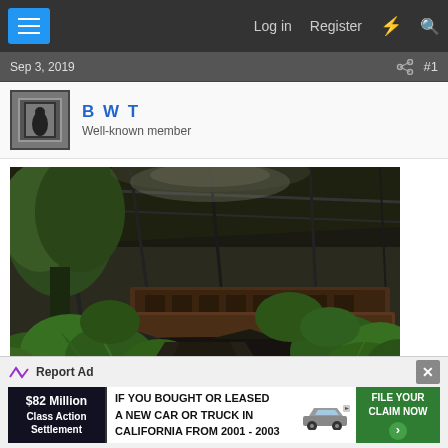Log in  Register
Sep 3, 2019  #1
B W T
Well-known member
[Figure (photo): Abandoned overgrown train station with rusted train cars, ferns and other vegetation overtaking the interior, broken glass roof and structural steel beams visible above]
Report Ad
$82 Million Class Action Settlement  IF YOU BOUGHT OR LEASED A NEW CAR OR TRUCK IN CALIFORNIA FROM 2001 - 2003  FILE YOUR CLAIM NOW